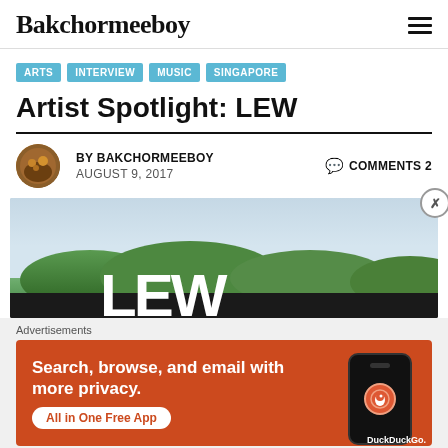Bakchormeeboy
ARTS
INTERVIEW
MUSIC
SINGAPORE
Artist Spotlight: LEW
BY BAKCHORMEEBOY   COMMENTS 2
AUGUST 9, 2017
[Figure (photo): Hero image showing large text 'LEW' against a sky and foliage background]
Advertisements
[Figure (infographic): DuckDuckGo advertisement banner: 'Search, browse, and email with more privacy. All in One Free App' with DuckDuckGo logo and phone mockup on orange/red background]